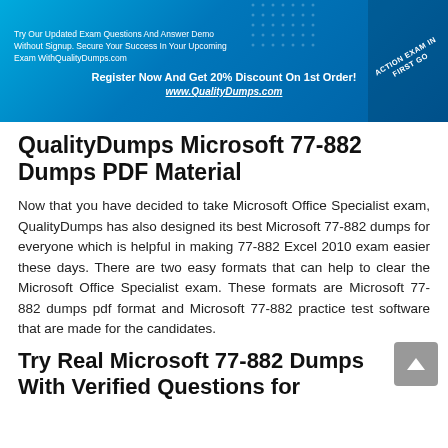[Figure (infographic): QualityDumps promotional banner with blue gradient background, dots pattern, circular badge, small text about exam questions and demo, bold register text with 20% discount offer and website URL]
QualityDumps Microsoft 77-882 Dumps PDF Material
Now that you have decided to take Microsoft Office Specialist exam, QualityDumps has also designed its best Microsoft 77-882 dumps for everyone which is helpful in making 77-882 Excel 2010 exam easier these days. There are two easy formats that can help to clear the Microsoft Office Specialist exam. These formats are Microsoft 77-882 dumps pdf format and Microsoft 77-882 practice test software that are made for the candidates.
Try Real Microsoft 77-882 Dumps With Verified Questions for